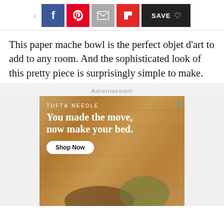Social sharing bar with Facebook, Pinterest, Email, Flipboard, and Save buttons
This paper mache bowl is the perfect objet d'art to add to any room. And the sophisticated look of this pretty piece is surprisingly simple to make.
Advertisement
[Figure (photo): Tuft & Needle advertisement showing a couple on a bed against a wood-paneled wall. Text reads 'TUFT & NEEDLE' and 'You made the move, now make your bed.' with a 'Shop Now' button.]